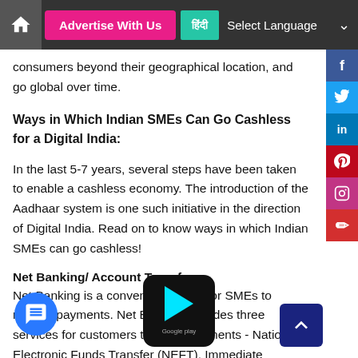Advertise With Us | हिंदी | Select Language
consumers beyond their geographical location, and go global over time.
Ways in Which Indian SMEs Can Go Cashless for a Digital India:
In the last 5-7 years, several steps have been taken to enable a cashless economy. The introduction of the Aadhaar system is one such initiative in the direction of Digital India. Read on to know ways in which Indian SMEs can go cashless!
Net Banking/ Account Transfers
Net Banking is a convenient option for SMEs to receive payments. Net Banking includes three services for customers to make payments - National Electronic Funds Transfer (NEFT), Immediate Payment Service (IMPS) and Real-time Gross Settlement (RTGS). There is a transaction fee (starting from INR 5 to INR 55) for the services. While RTGS is used for a minimum amount of INR 2